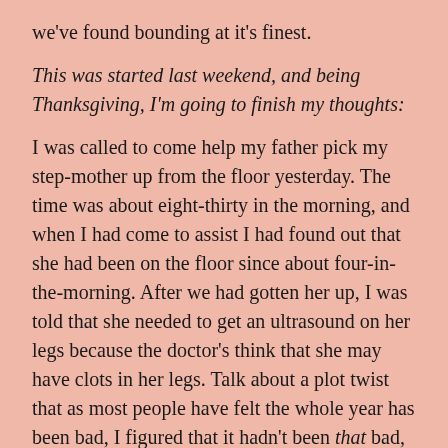we've found bounding at it's finest.
This was started last weekend, and being Thanksgiving, I'm going to finish my thoughts:
I was called to come help my father pick my step-mother up from the floor yesterday. The time was about eight-thirty in the morning, and when I had come to assist I had found out that she had been on the floor since about four-in-the-morning. After we had gotten her up, I was told that she needed to get an ultrasound on her legs because the doctor's think that she may have clots in her legs. Talk about a plot twist that as most people have felt the whole year has been bad, I figured that it hadn't been that bad, well I guess that I'm having my chips cashed in in the last bit of this year.
I mean if you've been following me for some time, then